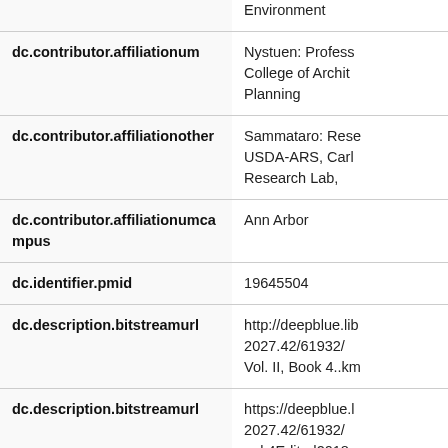| Field | Value |
| --- | --- |
|  | Environment |
| dc.contributor.affiliationum | Nystuen: Professor, College of Architecture, Planning |
| dc.contributor.affiliationother | Sammataro: Research, USDA-ARS, Carl Research Lab, |
| dc.contributor.affiliationumcampus | Ann Arbor |
| dc.identifier.pmid | 19645504 |
| dc.description.bitstreamurl | http://deepblue.lib... 2027.42/61932/... Vol. II, Book 4..km |
| dc.description.bitstreamurl | https://deepblue.l... 2027.42/61932/... ook4Edited2018 |